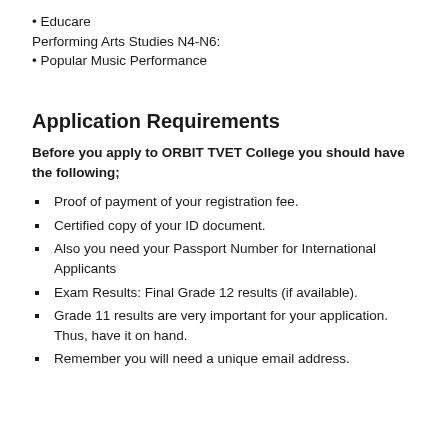• Educare
Performing Arts Studies N4-N6:
• Popular Music Performance
Application Requirements
Before you apply to ORBIT TVET College you should have the following;
Proof of payment of your registration fee.
Certified copy of your ID document.
Also you need your Passport Number for International Applicants
Exam Results: Final Grade 12 results (if available).
Grade 11 results are very important for your application. Thus, have it on hand.
Remember you will need a unique email address.